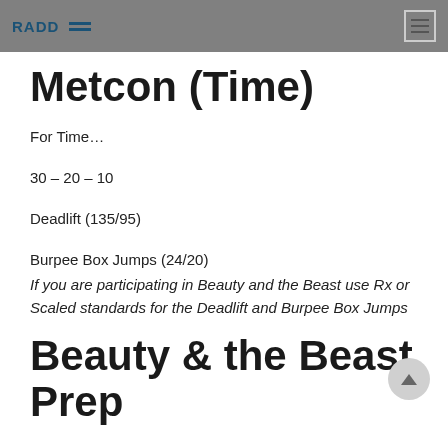RADD
Metcon (Time)
For Time…
30 – 20 – 10
Deadlift (135/95)
Burpee Box Jumps (24/20)
If you are participating in Beauty and the Beast use Rx or Scaled standards for the Deadlift and Burpee Box Jumps
Beauty & the Beast Prep